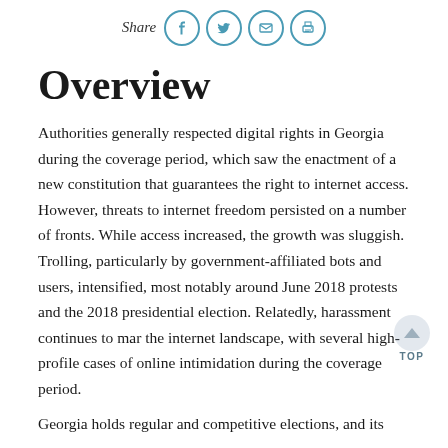Share [facebook] [twitter] [email] [print]
Overview
Authorities generally respected digital rights in Georgia during the coverage period, which saw the enactment of a new constitution that guarantees the right to internet access. However, threats to internet freedom persisted on a number of fronts. While access increased, the growth was sluggish. Trolling, particularly by government-affiliated bots and users, intensified, most notably around June 2018 protests and the 2018 presidential election. Relatedly, harassment continues to mar the internet landscape, with several high-profile cases of online intimidation during the coverage period.
Georgia holds regular and competitive elections, and its